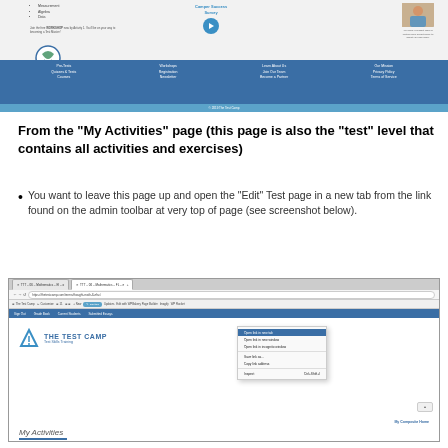[Figure (screenshot): Screenshot of Eastern Florida State College website with navigation footer and Camper Success Survey section]
From the "My Activities" page (this page is also the "test" level that contains all activities and exercises)
You want to leave this page up and open the "Edit" Test page in a new tab from the link found on the admin toolbar at very top of page (see screenshot below).
[Figure (screenshot): Browser screenshot showing The Test Camp website with a right-click context menu open showing options including 'Open link in new tab', 'Open link in new window', 'Open link in incognito window', 'Save link as...', 'Copy link address', 'Inspect']